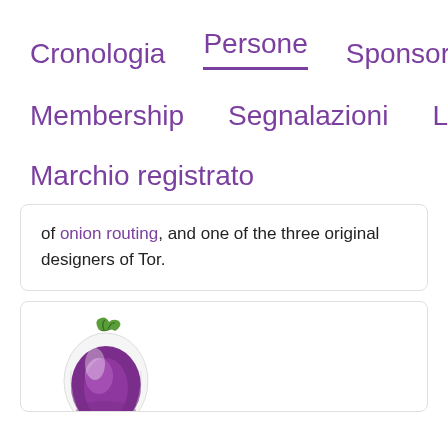Cronologia   Persone   Sponsor
Membership   Segnalazioni   Lavori
Marchio registrato
of onion routing, and one of the three original designers of Tor.
[Figure (illustration): Tor onion logo illustration showing a stylized onion with green stem and purple/white layers]